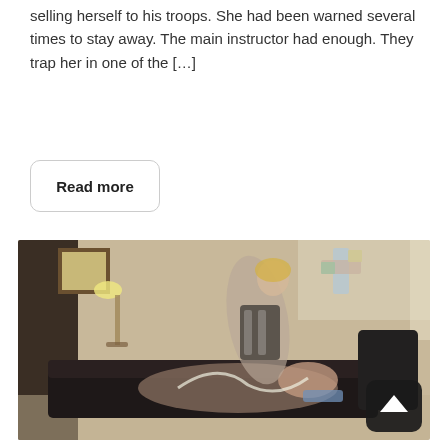selling herself to his troops. She had been warned several times to stay away. The main instructor had enough. They trap her in one of the […]
Read more
[Figure (photo): Indoor scene showing two people on a dark leather couch in a living room setting, with a lamp and mirror visible on the left side and decorative items on the wall in the upper right. An arrow-up icon appears in the lower right corner of the image.]